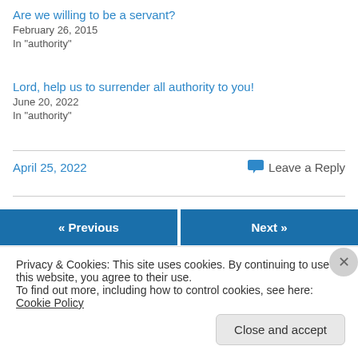Are we willing to be a servant?
February 26, 2015
In "authority"
Lord, help us to surrender all authority to you!
June 20, 2022
In "authority"
April 25, 2022
Leave a Reply
« Previous
Next »
Privacy & Cookies: This site uses cookies. By continuing to use this website, you agree to their use.
To find out more, including how to control cookies, see here: Cookie Policy
Close and accept